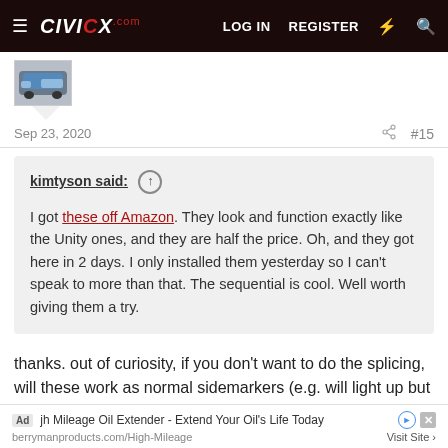CivicX.com — LOG IN  REGISTER
[Figure (photo): User avatar thumbnail showing a Honda Civic car, blue/grey color]
Sep 23, 2020   #15
kimtyson said: ↑
I got these off Amazon. They look and function exactly like the Unity ones, and they are half the price. Oh, and they got here in 2 days. I only installed them yesterday so I can't speak to more than that. The sequential is cool. Well worth giving them a try.
thanks. out of curiosity, if you don't want to do the splicing, will these work as normal sidemarkers (e.g. will light up but not flash with turn signal) if you install without the splicing?
Ad  jh Mileage Oil Extender - Extend Your Oil's Life Today
berrymanproducts.com/High-Mileage   Visit Site